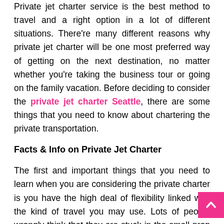Private jet charter service is the best method to travel and a right option in a lot of different situations. There're many different reasons why private jet charter will be one most preferred way of getting on the next destination, no matter whether you're taking the business tour or going on the family vacation. Before deciding to consider the private jet charter Seattle, there are some things that you need to know about chartering the private transportation.
Facts & Info on Private Jet Charter
The first and important things that you need to learn when you are considering the private charter is you have the high deal of flexibility linked with the kind of travel you may use. Lots of people wrongly think that they are stuck in the small prop plane when they choose to fly private. Actually, it is not a case.
When you are chartering a jet, you select from many different sizes of jets accessible to you, it means you may fit both the small and large groups on the jet and you may